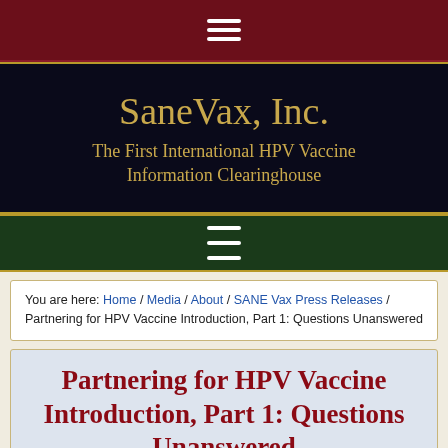[Figure (other): Dark red top navigation bar with hamburger menu icon (three white horizontal lines)]
SaneVax, Inc.
The First International HPV Vaccine Information Clearinghouse
[Figure (other): Dark green navigation bar with hamburger menu icon (three white horizontal lines)]
You are here: Home / Media / About / SANE Vax Press Releases / Partnering for HPV Vaccine Introduction, Part 1: Questions Unanswered
Partnering for HPV Vaccine Introduction, Part 1: Questions Unanswered